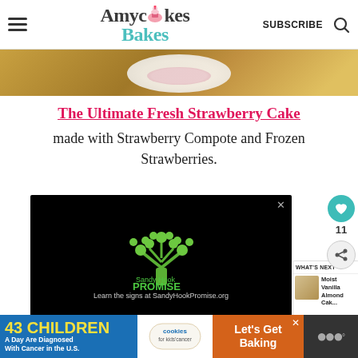AmycakesBakes — SUBSCRIBE [search icon]
[Figure (photo): Top of a cake or food item on a wooden surface, partially cropped]
The Ultimate Fresh Strawberry Cake
made with Strawberry Compote and Frozen Strawberries.
[Figure (screenshot): Sandy Hook Promise advertisement on black background with green tree logo made of hands. Text: Learn the signs at SandyHookPromise.org]
[Figure (screenshot): What's Next widget showing Moist Vanilla Almond Cak...]
[Figure (infographic): Bottom banner ad: 43 Children A Day Are Diagnosed With Cancer in the U.S. — cookies for kids cancer — Let's Get Baking]